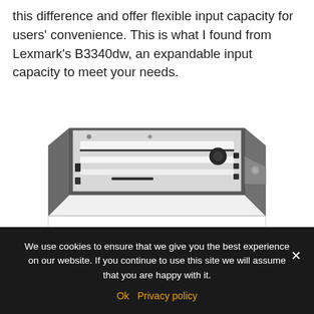this difference and offer flexible input capacity for users' convenience. This is what I found from Lexmark's B3340dw, an expandable input capacity to meet your needs.
[Figure (photo): Photo of a Lexmark B3340dw paper tray/drawer accessory. The unit has a white front panel with a dark grey top and sides. The top is open showing an internal paper tray mechanism with white rails, black adjustment clips, and a round black dial on the right side.]
We use cookies to ensure that we give you the best experience on our website. If you continue to use this site we will assume that you are happy with it.
Ok  Privacy policy